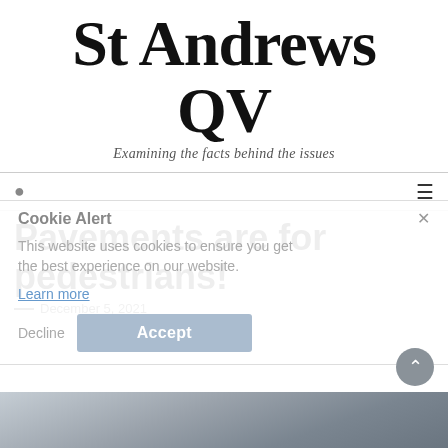St Andrews QV
Examining the facts behind the issues
Pavements are for pedestrians!
December 5, 2021
Cookie Alert
This website uses cookies to ensure you get the best experience on our website.
Learn more
Decline   Accept
[Figure (photo): Bottom strip photo, dark grey/blue toned image of a pavement or street scene]